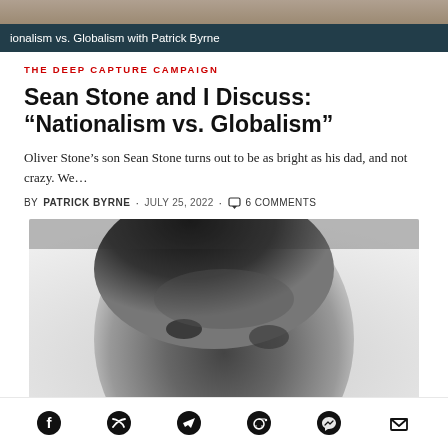[Figure (photo): Top banner image showing people, with dark overlay bar at bottom reading 'ionalism vs. Globalism with Patrick Byrne']
THE DEEP CAPTURE CAMPAIGN
Sean Stone and I Discuss: “Nationalism vs. Globalism”
Oliver Stone’s son Sean Stone turns out to be as bright as his dad, and not crazy. We…
BY PATRICK BYRNE · JULY 25, 2022 · 6 COMMENTS
[Figure (photo): Black and white close-up photograph of a man's face looking upward]
[Figure (infographic): Social share icons row: Facebook, Twitter, Telegram, Reddit, Messenger, Email]